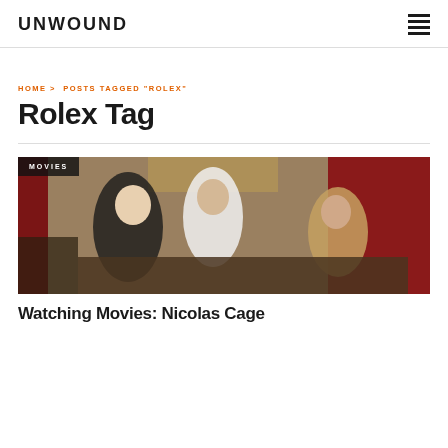UNWOUND
HOME > POSTS TAGGED "ROLEX"
Rolex Tag
[Figure (photo): A scene from a movie showing three people around a table in an ornate room with red curtains and a chandelier. A blonde woman in black, a man in a white shirt, and another person in a tan jacket are leaning over the table. A 'MOVIES' tag label is overlaid in the top-left corner.]
Watching Movies: Nicolas Cage